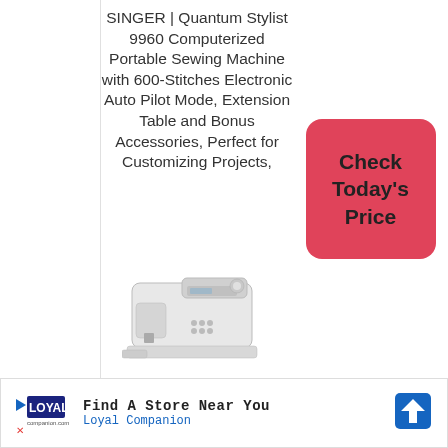SINGER | Quantum Stylist 9960 Computerized Portable Sewing Machine with 600-Stitches Electronic Auto Pilot Mode, Extension Table and Bonus Accessories, Perfect for Customizing Projects,
[Figure (photo): Photo of a white SINGER Quantum Stylist 9960 computerized sewing machine]
[Figure (other): Red rounded button with text 'Check Today's Price']
[Figure (other): Advertisement banner: Find A Store Near You - Loyal Companion, with logo and direction icon]